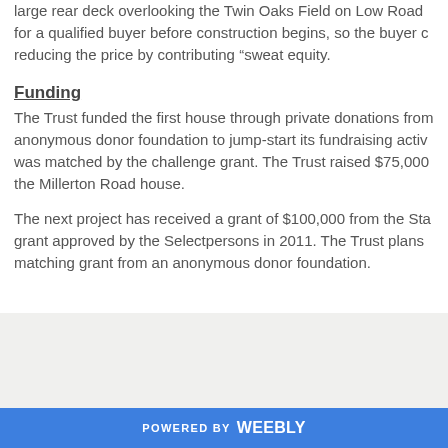large rear deck overlooking the Twin Oaks Field on Low Road for a qualified buyer before construction begins, so the buyer could reducing the price by contributing “sweat equity.
Funding
The Trust funded the first house through private donations from anonymous donor foundation to jump-start its fundraising activ was matched by the challenge grant. The Trust raised $75,000 the Millerton Road house.
The next project has received a grant of $100,000 from the Sta grant approved by the Selectpersons in 2011. The Trust plans matching grant from an anonymous donor foundation.
POWERED BY weebly